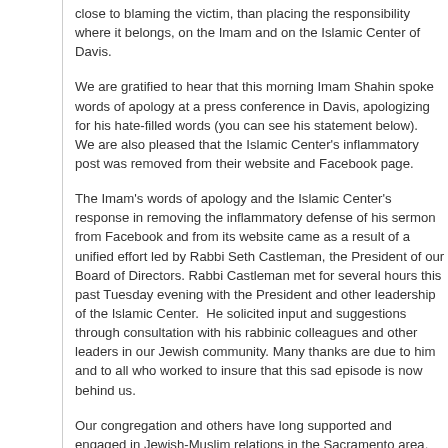close to blaming the victim, than placing the responsibility where it belongs, on the Imam and on the Islamic Center of Davis.
We are gratified to hear that this morning Imam Shahin spoke words of apology at a press conference in Davis, apologizing for his hate-filled words (you can see his statement below).   We are also pleased that the Islamic Center's inflammatory post was removed from their website and Facebook page.
The Imam's words of apology and the Islamic Center's response in removing the inflammatory defense of his sermon from Facebook and from its website came as a result of a unified effort led by Rabbi Seth Castleman, the President of our Board of Directors. Rabbi Castleman met for several hours this past Tuesday evening with the President and other leadership of the Islamic Center.  He solicited input and suggestions through consultation with his rabbinic colleagues and other leaders in our Jewish community. Many thanks are due to him and to all who worked to insure that this sad episode is now behind us.
Our congregation and others have long supported and engaged in Jewish-Muslim relations in the Sacramento area.  We believe that building bridges of understanding amongst our very diverse faith communities are vital ingredients in the health of our whole community.
A genuine apology is more than mouthing the words. It's registered in the awareness of the harm been done. While I was not present in Davis this morning, I am told by those who were there that the Imam's body language, his words, and his tone of voice all conveyed a genuine recognition of the pain he and his Islamic Center has caused the